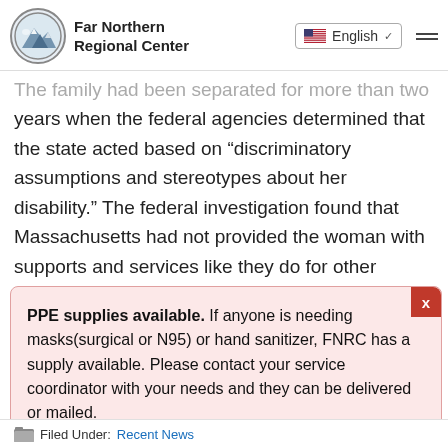Far Northern Regional Center | English
The family had been separated for more than two years when the federal agencies determined that the state acted based on “discriminatory assumptions and stereotypes about her disability.” The federal investigation found that Massachusetts had not provided the woman with supports and services like they do for other parents, nor had they provided reasonable modifications to accommodate her disability.
PPE supplies available. If anyone is needing masks(surgical or N95) or hand sanitizer, FNRC has a supply available. Please contact your service coordinator with your needs and they can be delivered or mailed.
Filed Under: Recent News